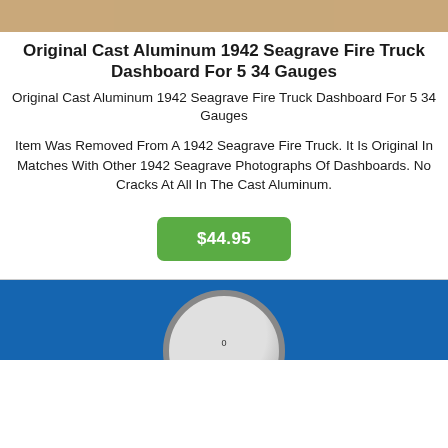[Figure (photo): Top portion of a cast aluminum dashboard, tan/beige color, partially cropped]
Original Cast Aluminum 1942 Seagrave Fire Truck Dashboard For 5 34 Gauges
Original Cast Aluminum 1942 Seagrave Fire Truck Dashboard For 5 34 Gauges
Item Was Removed From A 1942 Seagrave Fire Truck. It Is Original In Matches With Other 1942 Seagrave Photographs Of Dashboards. No Cracks At All In The Cast Aluminum.
$44.95
[Figure (photo): Circular gauge with chrome bezel against blue background, bottom portion visible]